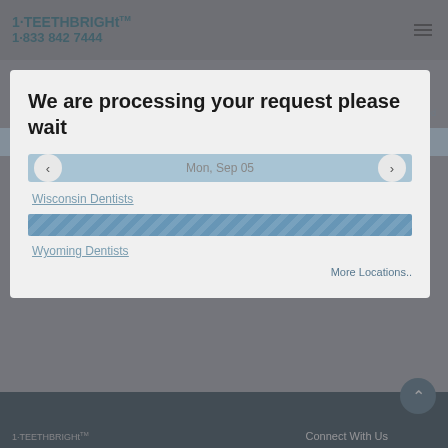[Figure (screenshot): 1·TEETHBRIGHt logo with trademark symbol and phone number 1·833 842 7444 on dark gray background header]
We are processing your request please wait
Mon, Sep 05
Wisconsin Dentists
Wyoming Dentists
More Locations..
Connect With Us